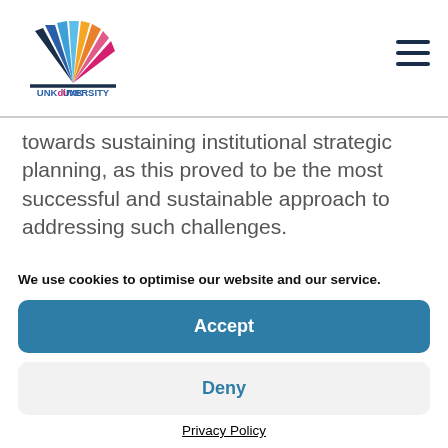[Figure (logo): UNKdiIVERSITY logo with colorful fan/book icon in pink, orange, and navy colors above the text UNKdiIVERSITY]
towards sustaining institutional strategic planning, as this proved to be the most successful and sustainable approach to addressing such challenges.
It expands the scope of intervention to address HEIs' responsibility towards inclusion, in relation
We use cookies to optimise our website and our service.
Accept
Deny
Privacy Policy